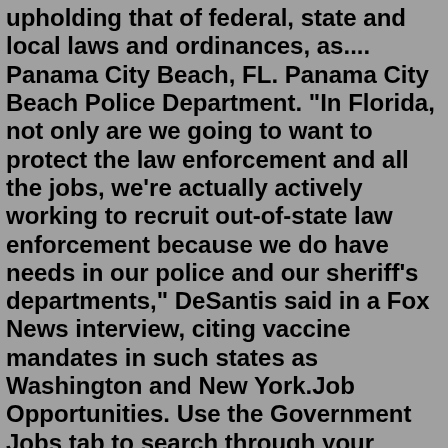upholding that of federal, state and local laws and ordinances, as.... Panama City Beach, FL. Panama City Beach Police Department. "In Florida, not only are we going to want to protect the law enforcement and all the jobs, we're actually actively working to recruit out-of-state law enforcement because we do have needs in our police and our sheriff's departments," DeSantis said in a Fox News interview, citing vaccine mandates in such states as Washington and New York.Job Opportunities. Use the Government Jobs tab to search through your municipality's employment opportunities. Subscribe to job posting notifications to be automatically alerted of the latest career opportunities by clicking on the Notify Me® button. RSS.Standard police salary & benefits offered by most departments: Competitive starting salary while attending the police academy. Starting salary range of $35,000 - $100,000 per year (depending on location) Excellent medical, dental, and vision coverage. Potential 4 day work week & 4 day weekends. 80-180 hours of paid vacation